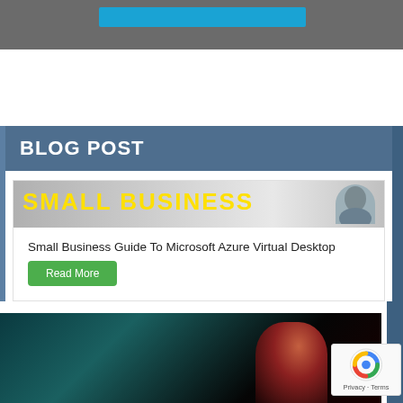[Figure (screenshot): Top gray navigation bar with a blue button/banner element centered within it]
BLOG POST
[Figure (photo): Small business banner image with yellow text reading 'SMALL BUSINESS' and a person in the top right corner]
Small Business Guide To Microsoft Azure Virtual Desktop
Read More
[Figure (photo): Dark photo of a person with red lighting, partially visible at the bottom of the page]
[Figure (other): reCAPTCHA badge with Privacy and Terms links]